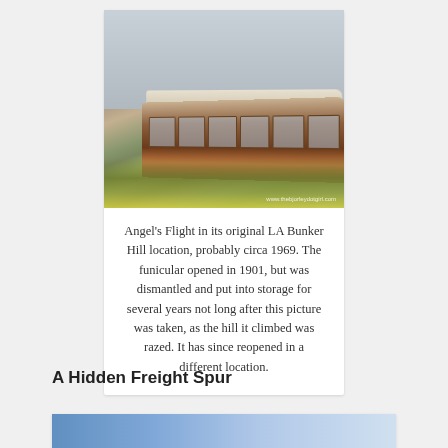[Figure (photo): Angel's Flight funicular railway car at its original LA Bunker Hill location, circa 1969. A wooden tram car is visible on the tracks with urban buildings in the background and yellow-green foliage in the foreground. A watermark reads www.thebjorleydotgirl.com]
Angel's Flight in its original LA Bunker Hill location, probably circa 1969. The funicular opened in 1901, but was dismantled and put into storage for several years not long after this picture was taken, as the hill it climbed was razed. It has since reopened in a different location.
A Hidden Freight Spur
[Figure (photo): Partial view of a photo at the bottom of the page, showing a blue-toned image, partially cut off.]